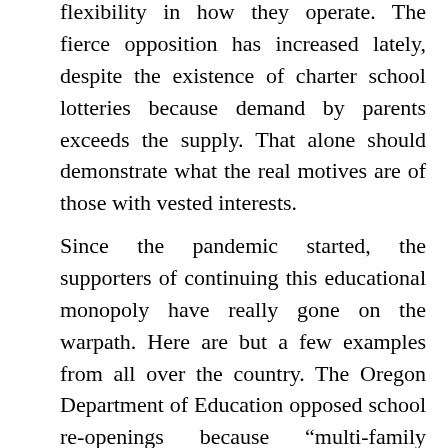flexibility in how they operate. The fierce opposition has increased lately, despite the existence of charter school lotteries because demand by parents exceeds the supply. That alone should demonstrate what the real motives are of those with vested interests.
Since the pandemic started, the supporters of continuing this educational monopoly have really gone on the warpath. Here are but a few examples from all over the country. The Oregon Department of Education opposed school re-openings because “multi-family learning groups may slow the process of returning to school by creating more opportunities for spread among students and families”. The...